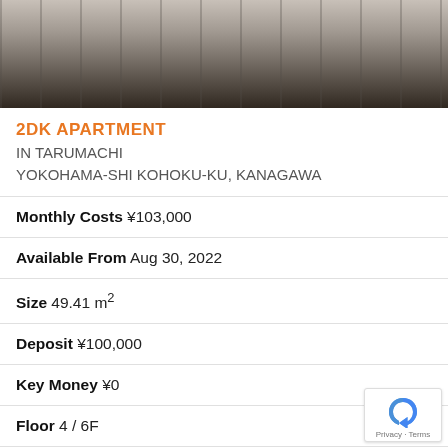[Figure (photo): Exterior photo of an apartment building, showing roofline and facade]
2DK APARTMENT IN TARUMACHI YOKOHAMA-SHI KOHOKU-KU, KANAGAWA
Monthly Costs ¥103,000
Available From Aug 30, 2022
Size 49.41 m²
Deposit ¥100,000
Key Money ¥0
Floor 4 / 6F
Year Built 1996